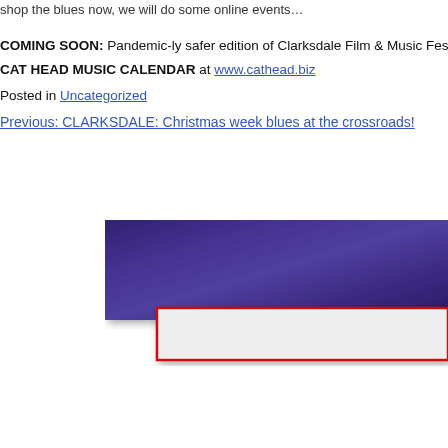...shop the blues now, we will do some online events...
COMING SOON: Pandemic-ly safer edition of Clarksdale Film & Music Festival; in
CAT HEAD MUSIC CALENDAR at www.cathead.biz
Posted in Uncategorized
Previous: CLARKSDALE: Christmas week blues at the crossroads!
[Figure (photo): Partial image showing a dark purple/indigo horizontal bar or book/sign object overlapping a white rectangle with a red border, cropped at the right edge of the page.]